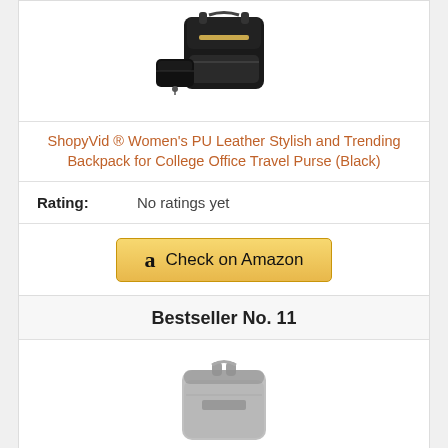[Figure (photo): Black PU leather women's backpack with matching small pouch, shown on white background]
ShopyVid ® Women's PU Leather Stylish and Trending Backpack for College Office Travel Purse (Black)
Rating: No ratings yet
[Figure (other): Amazon 'Check on Amazon' button with Amazon logo]
Bestseller No. 11
[Figure (photo): Gray backpack shown from front on white background]